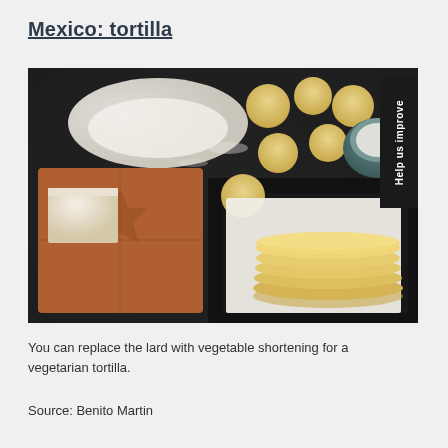Mexico: tortilla
[Figure (photo): Overhead shot of tortilla-making ingredients on a dark stone surface: dough balls, a block of lard on a carved wooden board, flour, a bowl of salt, and a stack of flat uncooked tortillas on parchment paper.]
You can replace the lard with vegetable shortening for a vegetarian tortilla.
Source: Benito Martin